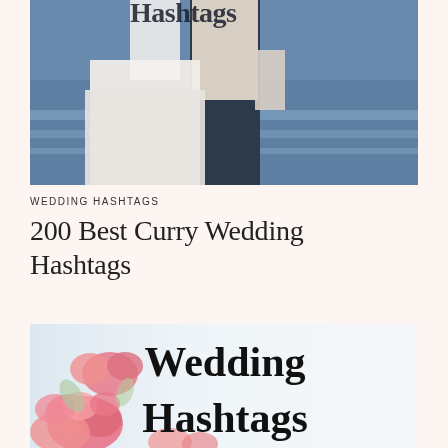[Figure (photo): Wedding couple standing by a lake or sea backdrop, bride in white dress and groom in dark pants. Partially cropped — shows lower body. Text 'Hashtags' partially visible at top.]
WEDDING HASHTAGS
200 Best Curry Wedding Hashtags
[Figure (infographic): Infographic image with pale blue/white gradient background, pink roses on the left side and bottom, and large bold text reading 'Wedding Hashtags' in black serif font on the right side.]